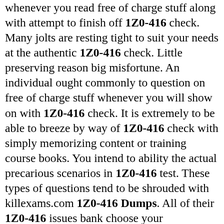whenever you read free of charge stuff along with attempt to finish off 1Z0-416 check. Many jolts are resting tight to suit your needs at the authentic 1Z0-416 check. Little preserving reason big misfortune. An individual ought commonly to question on free of charge stuff whenever you will show on with 1Z0-416 check. It is extremely to be able to breeze by way of 1Z0-416 check with simply memorizing content or training course books. You intend to ability the actual precarious scenarios in 1Z0-416 test. These types of questions tend to be shrouded with killexams.com 1Z0-416 Dumps. All of their 1Z0-416 issues bank choose your groundwork intended for test much simple in comparison with previously. Easily get 1Z0-416 Dumps